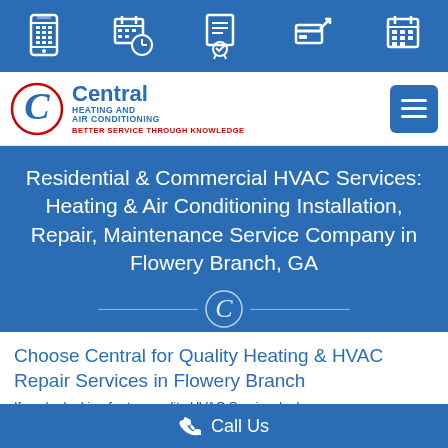[Figure (screenshot): Top navigation icon bar with 5 white icons on blue background: phone/mobile, calendar with clock, certificate/document, payment/card, calendar grid]
[Figure (logo): Central Heating and Air Conditioning logo with stylized C in red circle, blue text 'Central Heating and Air Conditioning', red tagline 'Better Service Through Knowledge', and blue hamburger menu button on the right]
Residential & Commercial HVAC Services: Heating & Air Conditioning Installation, Repair, Maintenance Service Company in Flowery Branch, GA
Choose Central for Quality Heating & HVAC Repair Services in Flowery Branch
If you're looking for top quality HVAC Service, look no more...
Call Us